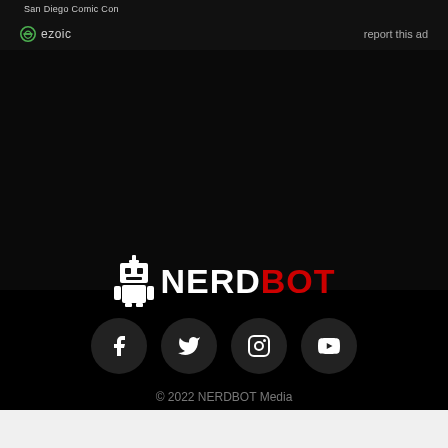San Diego Comic Con
ezoic   report this ad
[Figure (logo): NERDBOT logo with robot icon and text NERD in white and BOT in red]
[Figure (infographic): Social media icons: Facebook, Twitter, Instagram, YouTube in dark circular buttons]
© 2022 NERDBOT Media